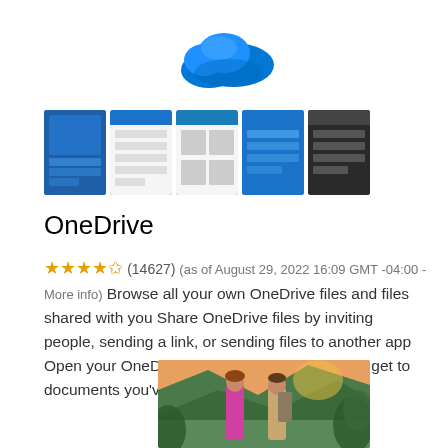[Figure (logo): Microsoft OneDrive blue cloud logo]
[Figure (screenshot): Five smartphone app screenshots of OneDrive on blue/dark backgrounds]
OneDrive
★★★★½ (14627)  (as of August 29, 2022 16:09 GMT -04:00 - More info) Browse all your own OneDrive files and files shared with you Share OneDrive files by inviting people, sending a link, or sending files to another app Open your OneDrive files in other apps Quickly get to documents you've recently opened
[Figure (photo): Photo of two people (man and woman) in an outdoor tropical setting]